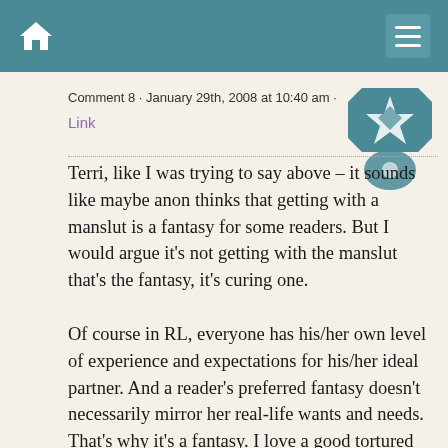Home · Menu
Comment 8 · January 29th, 2008 at 10:40 am ·
Link
[Figure (illustration): Decorative quilted star pattern in teal and white]
Terri, like I was trying to say above – it sounds like maybe anon thinks that getting with a manslut is a fantasy for some readers. But I would argue it's not getting with the manslut that's the fantasy, it's curing one.

Of course in RL, everyone has his/her own level of experience and expectations for his/her ideal partner. And a reader's preferred fantasy doesn't necessarily mirror her real-life wants and needs. That's why it's a fantasy. I love a good tortured hero in a book, but I wouldn't want one in real life. There are lots of women who enjoy reading m/m fiction – if you try to translate that into a